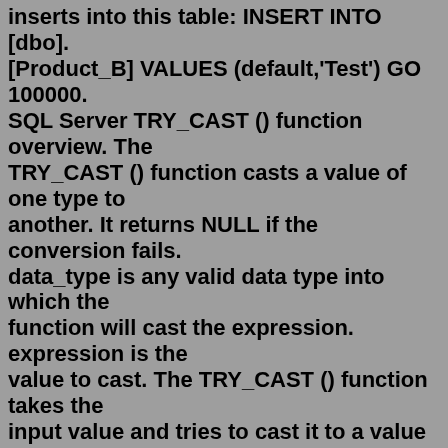inserts into this table: INSERT INTO [dbo].[Product_B] VALUES (default,'Test') GO 100000. SQL Server TRY_CAST () function overview. The TRY_CAST () function casts a value of one type to another. It returns NULL if the conversion fails. data_type is any valid data type into which the function will cast the expression. expression is the value to cast. The TRY_CAST () function takes the input value and tries to cast it to a value of ...For example, the values 10.6496 and -10.6496 may be truncated or rounded during conversion to int or numeric types: SQL. SELECT CAST(10.6496 AS INT) as trunc1, CAST(-10.6496 AS INT) as trunc2, CAST(10.6496 AS NUMERIC) as round1, CAST(-10.6496 AS NUMERIC) as round2; Results of the query are shown in the following table:summer hill community. Search: Ms Flow Convert String To Guid.Create a flow, and use the SharePoint trigger For a selected item ToDecimal(stringVal); double doubleval = System In the temp file, find the line that starts with Unicode String [DT_WSTR] The following